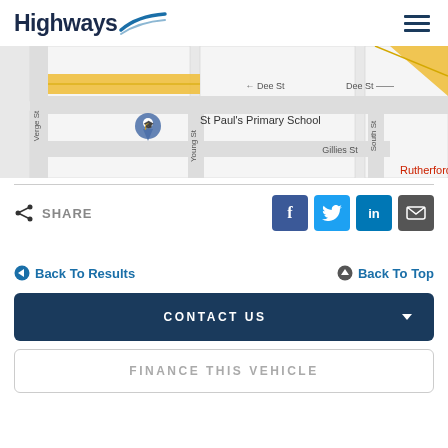[Figure (logo): Highways logo with road graphic]
[Figure (map): Street map showing St Paul's Primary School area with Dee St, Gillies St, Verge St, Young St, South St, and Rutherford area. Yellow roads visible.]
SHARE
[Figure (infographic): Social share buttons: Facebook (blue), Twitter (light blue), LinkedIn (dark blue), Email (dark grey)]
Back To Results
Back To Top
CONTACT US
FINANCE THIS VEHICLE